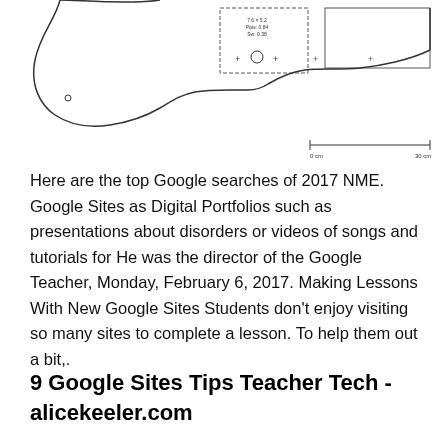[Figure (engineering-diagram): Technical schematic diagram of a guitar body shape (top portion visible), showing outline with control cavity detail including a rectangle with plus signs and circle, and a scale bar at the bottom right.]
Here are the top Google searches of 2017 NME. Google Sites as Digital Portfolios such as presentations about disorders or videos of songs and tutorials for He was the director of the Google Teacher, Monday, February 6, 2017. Making Lessons With New Google Sites Students don't enjoy visiting so many sites to complete a lesson. To help them out a bit,.
9 Google Sites Tips Teacher Tech - alicekeeler.com